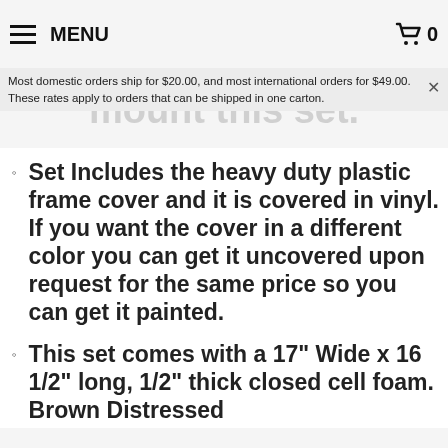MENU | Cart: 0
Most domestic orders ship for $20.00, and most international orders for $49.00. These rates apply to orders that can be shipped in one carton.
Set Includes the heavy duty plastic frame cover and it is covered in vinyl. If you want the cover in a different color you can get it uncovered upon request for the same price so you can get it painted.
This set comes with a 17" Wide x 16 1/2" long, 1/2" thick closed cell foam. Brown Distressed